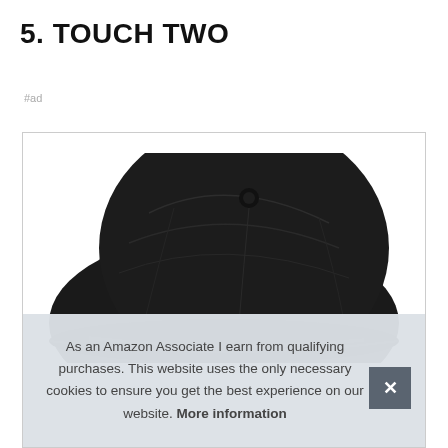5. TOUCH TWO
#ad
[Figure (photo): A black baseball cap shown from a top-down angle against a white background, inside a product listing box with a thin grey border.]
As an Amazon Associate I earn from qualifying purchases. This website uses the only necessary cookies to ensure you get the best experience on our website. More information